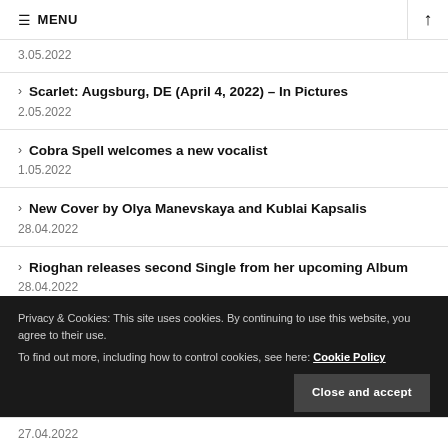MENU
3.05.2022
Scarlet: Augsburg, DE (April 4, 2022) – In Pictures
2.05.2022
Cobra Spell welcomes a new vocalist
1.05.2022
New Cover by Olya Manevskaya and Kublai Kapsalis
28.04.2022
Rioghan releases second Single from her upcoming Album
28.04.2022
Privacy & Cookies: This site uses cookies. By continuing to use this website, you agree to their use.
To find out more, including how to control cookies, see here: Cookie Policy
Close and accept
27.04.2022